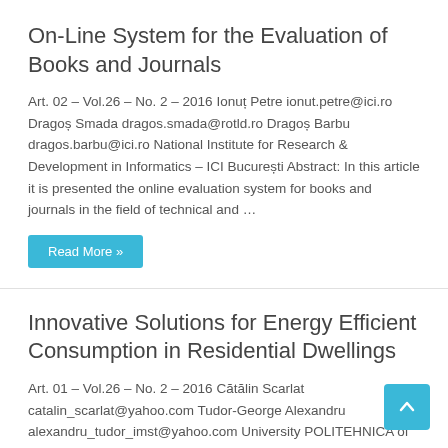On-Line System for the Evaluation of Books and Journals
Art. 02 – Vol.26 – No. 2 – 2016 Ionuț Petre ionut.petre@ici.ro Dragoș Smada dragos.smada@rotld.ro Dragoș Barbu dragos.barbu@ici.ro National Institute for Research & Development in Informatics – ICI București Abstract: In this article it is presented the online evaluation system for books and journals in the field of technical and …
Read More »
Innovative Solutions for Energy Efficient Consumption in Residential Dwellings
Art. 01 – Vol.26 – No. 2 – 2016 Cătălin Scarlat catalin_scarlat@yahoo.com Tudor-George Alexandru alexandru_tudor_imst@yahoo.com University POLITEHNICA of Bucharest – IMST Abstract: The development of the